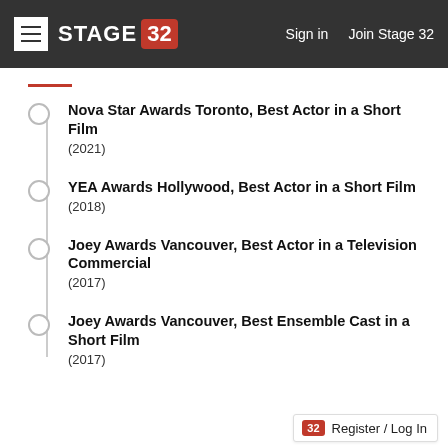STAGE 32  Sign in  Join Stage 32
Nova Star Awards Toronto, Best Actor in a Short Film (2021)
YEA Awards Hollywood, Best Actor in a Short Film (2018)
Joey Awards Vancouver, Best Actor in a Television Commercial (2017)
Joey Awards Vancouver, Best Ensemble Cast in a Short Film (2017)